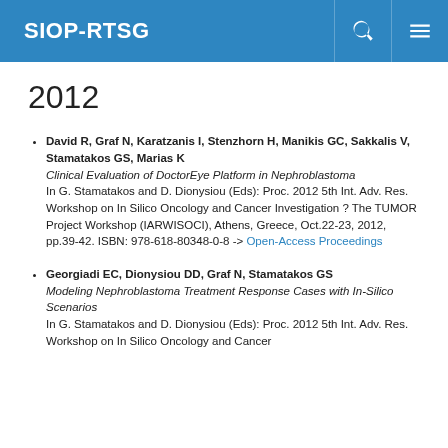SIOP-RTSG
2012
David R, Graf N, Karatzanis I, Stenzhorn H, Manikis GC, Sakkalis V, Stamatakos GS, Marias K
Clinical Evaluation of DoctorEye Platform in Nephroblastoma
In G. Stamatakos and D. Dionysiou (Eds): Proc. 2012 5th Int. Adv. Res. Workshop on In Silico Oncology and Cancer Investigation ? The TUMOR Project Workshop (IARWISOCI), Athens, Greece, Oct.22-23, 2012, pp.39-42. ISBN: 978-618-80348-0-8 -> Open-Access Proceedings
Georgiadi EC, Dionysiou DD, Graf N, Stamatakos GS
Modeling Nephroblastoma Treatment Response Cases with In-Silico Scenarios
In G. Stamatakos and D. Dionysiou (Eds): Proc. 2012 5th Int. Adv. Res. Workshop on In Silico Oncology and Cancer...